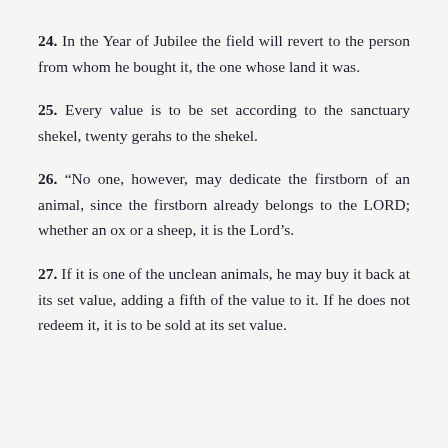24. In the Year of Jubilee the field will revert to the person from whom he bought it, the one whose land it was.
25. Every value is to be set according to the sanctuary shekel, twenty gerahs to the shekel.
26. “No one, however, may dedicate the firstborn of an animal, since the firstborn already belongs to the LORD; whether an ox or a sheep, it is the Lord’s.
27. If it is one of the unclean animals, he may buy it back at its set value, adding a fifth of the value to it. If he does not redeem it, it is to be sold at its set value.